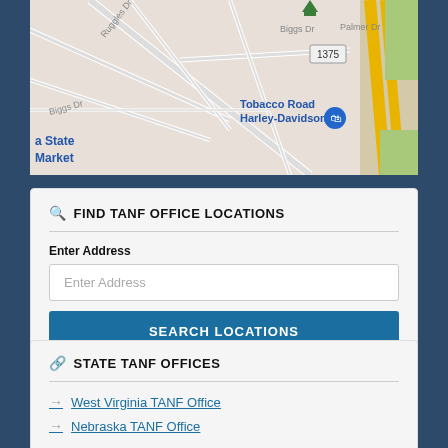[Figure (map): Google Maps screenshot showing area with street labels: Ruggles Dr, Biggs Dr, Palmer Dr, route 1375, and location pin for Tobacco Road Harley-Davidson; partial labels 'a State Market' on left edge]
FIND TANF OFFICE LOCATIONS
Enter Address
Enter Address (placeholder input)
SEARCH LOCATIONS
STATE TANF OFFICES
West Virginia TANF Office
Nebraska TANF Office